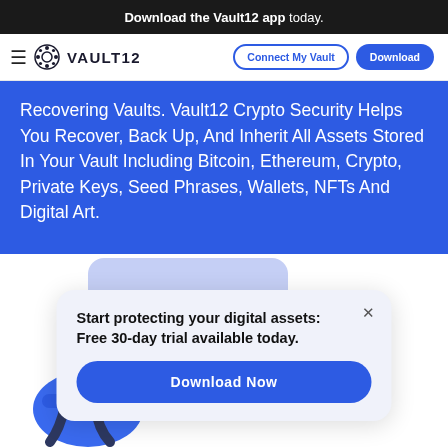Download the Vault12 app today.
VAULT12 | Connect My Vault | Download
Recovering Vaults. Vault12 Crypto Security Helps You Recover, Back Up, And Inherit All Assets Stored In Your Vault Including Bitcoin, Ethereum, Crypto, Private Keys, Seed Phrases, Wallets, NFTs And Digital Art.
[Figure (illustration): Person sitting at computer illustration with popup card overlay]
Start protecting your digital assets: Free 30-day trial available today.
Download Now